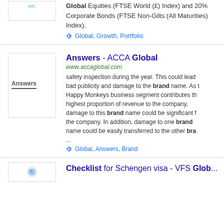Global Equities (FTSE World (£) Index) and 20% Corporate Bonds (FTSE Non-Gilts (All Maturities) Index).
Global, Growth, Portfolio
Answers - ACCA Global
www.accaglobal.com
safety inspection during the year. This could lead to bad publicity and damage to the brand name. As the Happy Monkeys business segment contributes the highest proportion of revenue to the company, damage to this brand name could be significant for the company. In addition, damage to one brand name could be easily transferred to the other bra...
Global, Answers, Brand
Checklist for Schengen visa - VFS Glob...